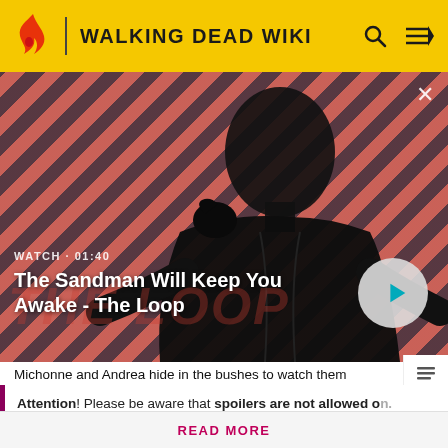WALKING DEAD WIKI
[Figure (screenshot): Hero video thumbnail showing a person in dark clothing with a bird on their shoulder against a red and dark diagonal striped background. Text overlay reads WATCH · 01:40 and The Sandman Will Keep You Awake - The Loop. A circular play button is visible on the right.]
Michonne and Andrea hide in the bushes to watch them
Attention! Please be aware that spoilers are not allowed on the wiki and a violation of this policy may result in a ban.
READ MORE